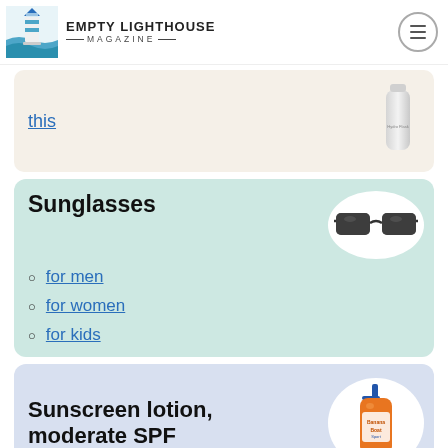EMPTY LIGHTHOUSE MAGAZINE
this
[Figure (photo): Hydro Flask white water bottle]
Sunglasses
[Figure (photo): Black rectangular sunglasses]
for men
for women
for kids
Sunscreen lotion, moderate SPF
[Figure (photo): Orange sunscreen lotion bottle with pump]